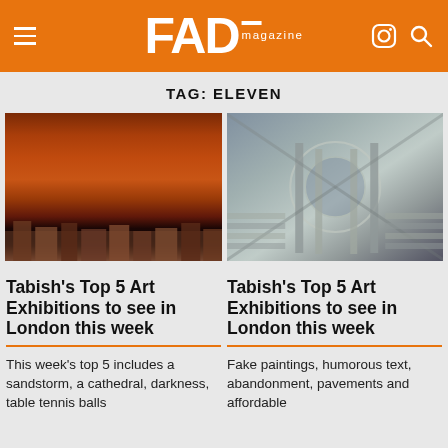FAD magazine
TAG: ELEVEN
[Figure (photo): A dramatic sandstorm engulfing a city, with red-orange dust cloud above buildings]
[Figure (photo): Interior of an abandoned cathedral or theatre with columns and circular architecture]
Tabish's Top 5 Art Exhibitions to see in London this week
Tabish's Top 5 Art Exhibitions to see in London this week
This week's top 5 includes a sandstorm, a cathedral, darkness, table tennis balls
Fake paintings, humorous text, abandonment, pavements and affordable